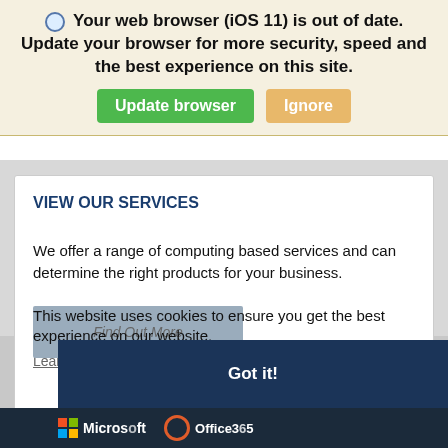Your web browser (iOS 11) is out of date. Update your browser for more security, speed and the best experience on this site.
Update browser | Ignore
VIEW OUR SERVICES
We offer a range of computing based services and can determine the right products for your business.
Find Out More
This website uses cookies to ensure you get the best experience on our website.
Learn more
Got it!
[Figure (logo): datto logo and infrascale logo on gray background]
[Figure (logo): Microsoft and Office 365 logos on dark background]